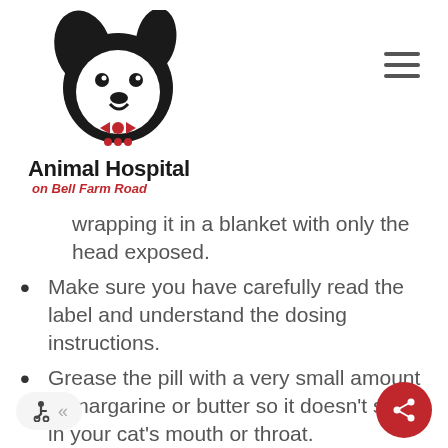[Figure (logo): Animal Hospital on Bell Farm Road logo — black dog/cat silhouette with red bow tie, bold text 'Animal Hospital' and italic red subtitle 'on Bell Farm Road']
wrapping it in a blanket with only the head exposed.
Make sure you have carefully read the label and understand the dosing instructions.
Grease the pill with a very small amount of margarine or butter so it doesn't stick in your cat's mouth or throat.
Hold the pill between your thumb and index finger.
Gently grasp your cat's head from above with your other